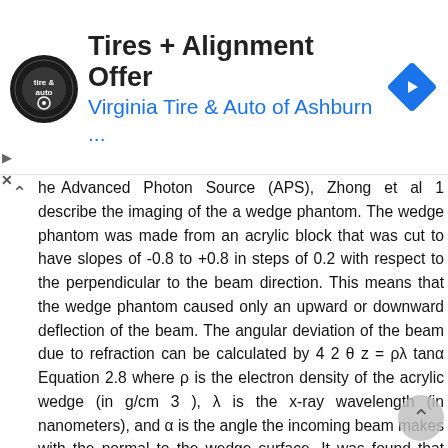[Figure (advertisement): Ad banner for Virginia Tire & Auto of Ashburn with circular logo and blue navigation arrow diamond icon. Shows 'Tires + Alignment Offer' title and 'Virginia Tire & Auto of Ashburn ...' subtitle in blue.]
he Advanced Photon Source (APS), Zhong et al 1 describe the imaging of the a wedge phantom. The wedge phantom was made from an acrylic block that was cut to have slopes of -0.8 to +0.8 in steps of 0.2 with respect to the perpendicular to the beam direction. This means that the wedge phantom caused only an upward or downward deflection of the beam. The angular deviation of the beam due to refraction can be calculated by 4 2 θ z = ρλ tanα Equation 2.8 where ρ is the electron density of the acrylic wedge (in g/cm 3 ), λ is the x-ray wavelength (in nanometers), and α is the angle the incoming beam makes with the normal to the wedge surface. It was found that there was agreement between the theoretically predicted angular deviation and the angular deviation measured experimentally using DEI Diffraction enhanced computed tomography theory Dilmanian et al 5 showed that the two-image DEI method described by Chapman et al 4 could be used in tomography mode to generate three dimensional